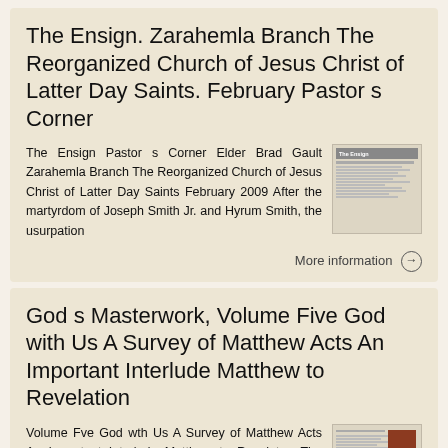The Ensign. Zarahemla Branch The Reorganized Church of Jesus Christ of Latter Day Saints. February Pastor s Corner
The Ensign Pastor s Corner Elder Brad Gault Zarahemla Branch The Reorganized Church of Jesus Christ of Latter Day Saints February 2009 After the martyrdom of Joseph Smith Jr. and Hyrum Smith, the usurpation
More information →
God s Masterwork, Volume Five God with Us A Survey of Matthew Acts An Important Interlude Matthew to Revelation
Volume Fve God wth Us A Survey of Matthew Acts An Important Interlude Matthew to Revelaton The Heart of the Matter We now begn the second phase of